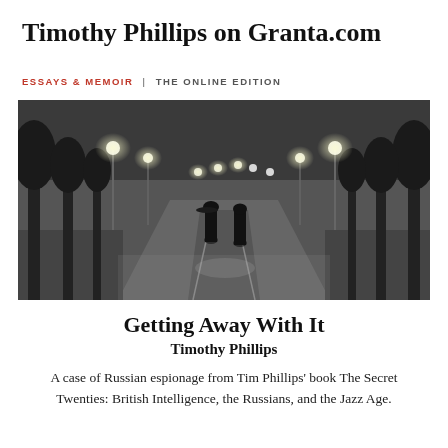Timothy Phillips on Granta.com
ESSAYS & MEMOIR | THE ONLINE EDITION
[Figure (photo): Black and white photograph of two men in dark coats and hats facing each other on a wide empty road at night, illuminated by rows of streetlamps, with trees lining the boulevard.]
Getting Away With It
Timothy Phillips
A case of Russian espionage from Tim Phillips' book The Secret Twenties: British Intelligence, the Russians, and the Jazz Age.